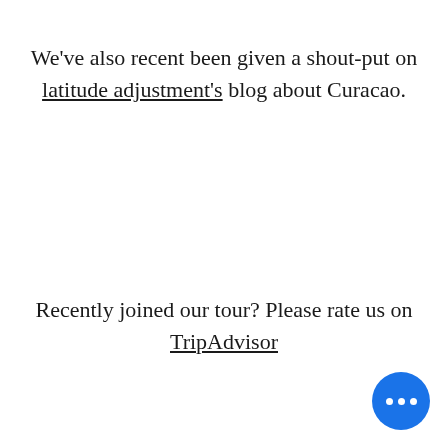We've also recent been given a shout-put on latitude adjustment's blog about Curacao.
Recently joined our tour? Please rate us on TripAdvisor
We try our best to give you the best tour guide experience. Here are a few reviews below from people who took time to rate us.
We're a long way away of spreading the word, any support would be appreciated